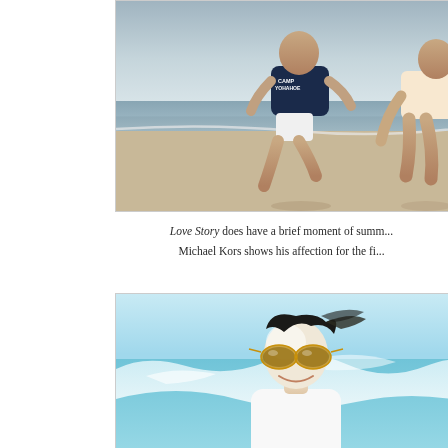[Figure (photo): Two people at a beach or waterfront; one wearing a dark navy t-shirt with 'CAMP YOHAHOE' text and white shorts, captured mid-motion against an overcast sky and sea background.]
Love Story does have a brief moment of summ... Michael Kors shows his affection for the fi...
[Figure (photo): A smiling person with dark windswept hair wearing sunglasses and a white top, at the beach with turquoise water and white waves behind them.]